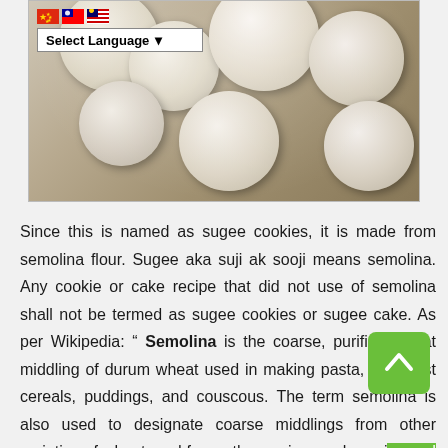[Figure (photo): Close-up photo of sugee cookies (round, powdery white balls) in a bowl or tray, with a language selector overlay showing Chinese, Taiwanese, and Malaysian flags and a 'Select Language' dropdown]
Since this is named as sugee cookies, it is made from semolina flour. Sugee aka suji ak sooji means semolina. Any cookie or cake recipe that did not use of semolina shall not be termed as sugee cookies or sugee cake. As per Wikipedia: “ Semolina is the coarse, purified wheat middling of durum wheat used in making pasta, breakfast cereals, puddings, and couscous. The term semolina is also used to designate coarse middlings from other varieties of wheat, and from other grains, such as rice and maize. In Pakistan and India, semolina (called Suji) is used for such sweets as Halwa and Rava Kesari.” (Source: https://en.wikipedia.org/wiki/Semolina). It is this coarse grain that